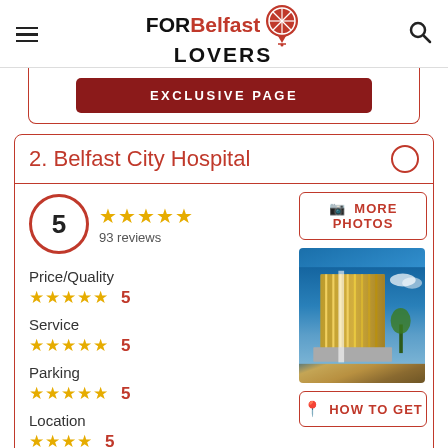FOR Belfast LOVERS
EXCLUSIVE PAGE
2. Belfast City Hospital
5 — 93 reviews
Price/Quality 5
Service 5
Parking 5
Location 5
[Figure (photo): Belfast City Hospital building exterior, tall multi-story structure with vertical fins, photographed from below against blue sky]
MORE PHOTOS
HOW TO GET